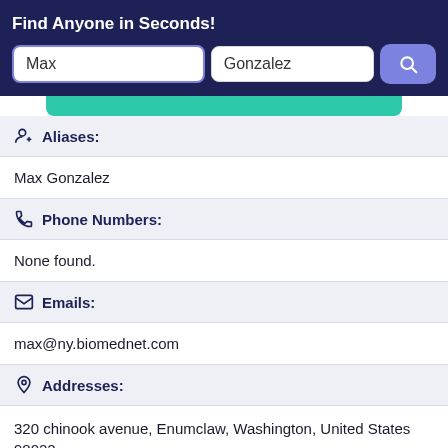Find Anyone in Seconds!
Max
Gonzalez
Aliases:
Max Gonzalez
Phone Numbers:
None found.
Emails:
max@ny.biomednet.com
Addresses:
320 chinook avenue, Enumclaw, Washington, United States 98022
Record Overview:
There are 1 Addresses for this record, 0 phone